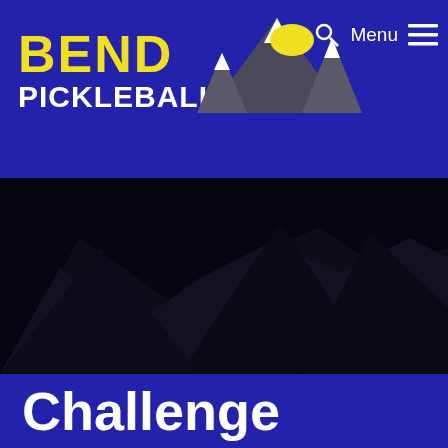[Figure (logo): Bend Pickleball Club logo with mountain graphic, yellow sun, search icon, Menu text, and hamburger menu icon on a dark blue background]
[Figure (photo): Dark nighttime photo of mountain peaks (Three Sisters/Cascade Mountains near Bend, Oregon), very dark/underexposed]
Challenge